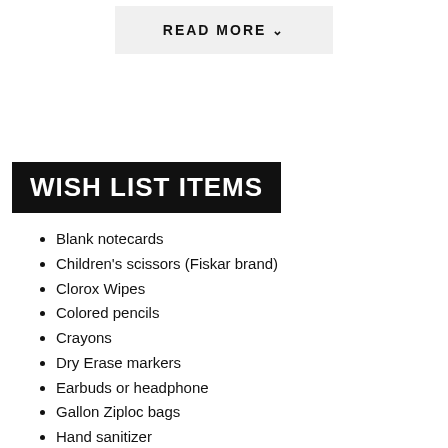READ MORE ∨
WISH LIST ITEMS
Blank notecards
Children's scissors (Fiskar brand)
Clorox Wipes
Colored pencils
Crayons
Dry Erase markers
Earbuds or headphone
Gallon Ziploc bags
Hand sanitizer